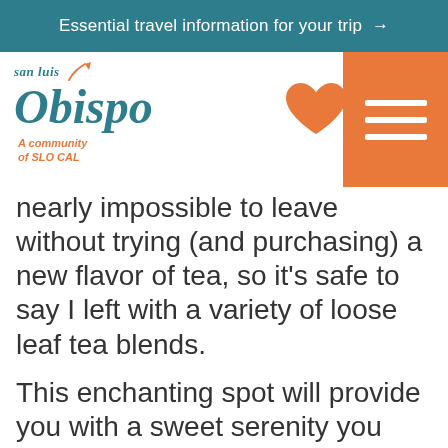Essential travel information for your trip →
[Figure (logo): San Luis Obispo logo with teal italic script text and orange star, subtitle 'A community of SLO CAL']
nearly impossible to leave without trying (and purchasing) a new flavor of tea, so it's safe to say I left with a variety of loose leaf tea blends.
This enchanting spot will provide you with a sweet serenity you don't want to miss out on. I hope you visit the Secret Garden soon!